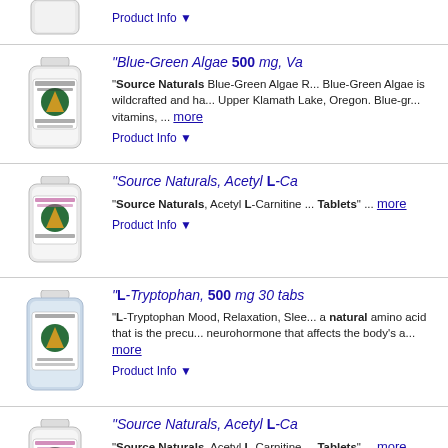[Figure (photo): Product bottle image (partial, top of page)]
Product Info ▼
"Blue-Green Algae 500 mg, Va...
"Source Naturals Blue-Green Algae R... Blue-Green Algae is wildcrafted and ha... Upper Klamath Lake, Oregon. Blue-gr... vitamins, ... more
Product Info ▼
"Source Naturals, Acetyl L-Ca...
"Source Naturals, Acetyl L-Carnitine ... Tablets" ... more
Product Info ▼
"L-Tryptophan, 500 mg 30 tabs...
"L-Tryptophan Mood, Relaxation, Slee... a natural amino acid that is the precu... neurohormone that affects the body's a... more
Product Info ▼
"Source Naturals, Acetyl L-Ca...
"Source Naturals, Acetyl L-Carnitine ... Tablets" ... more
Product Info ▼
"Source Naturals, L-Tryptop...